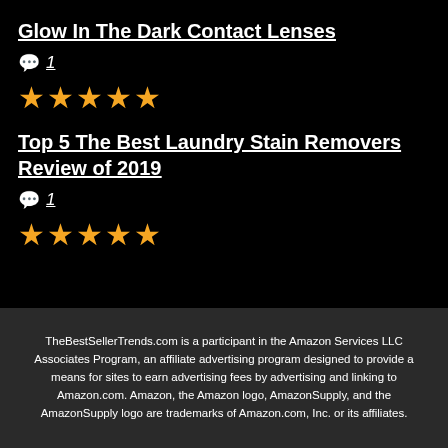Glow In The Dark Contact Lenses
💬 1
★★★★★
Top 5 The Best Laundry Stain Removers Review of 2019
💬 1
★★★★★
TheBestSellerTrends.com is a participant in the Amazon Services LLC Associates Program, an affiliate advertising program designed to provide a means for sites to earn advertising fees by advertising and linking to Amazon.com. Amazon, the Amazon logo, AmazonSupply, and the AmazonSupply logo are trademarks of Amazon.com, Inc. or its affiliates.